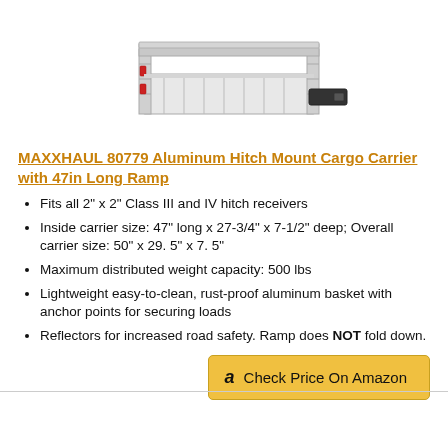[Figure (photo): Photo of MAXXHAUL aluminum hitch mount cargo carrier with ramp, silver metallic basket on a white background]
MAXXHAUL 80779 Aluminum Hitch Mount Cargo Carrier with 47in Long Ramp
Fits all 2" x 2" Class III and IV hitch receivers
Inside carrier size: 47" long x 27-3/4" x 7-1/2" deep; Overall carrier size: 50" x 29. 5" x 7. 5"
Maximum distributed weight capacity: 500 lbs
Lightweight easy-to-clean, rust-proof aluminum basket with anchor points for securing loads
Reflectors for increased road safety. Ramp does NOT fold down.
Check Price On Amazon